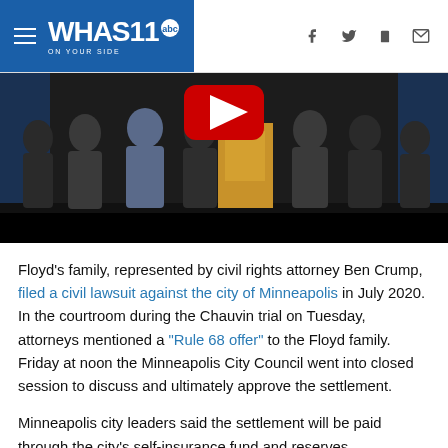WHAS11 abc ON YOUR SIDE
[Figure (photo): Group of people in suits standing at or near a podium with a YouTube play button visible, in a dark venue with blue lighting]
Floyd's family, represented by civil rights attorney Ben Crump, filed a civil lawsuit against the city of Minneapolis in July 2020. In the courtroom during the Chauvin trial on Tuesday, attorneys mentioned a "Rule 68 offer" to the Floyd family. Friday at noon the Minneapolis City Council went into closed session to discuss and ultimately approve the settlement.
Minneapolis city leaders said the settlement will be paid through the city's self-insurance fund and reserves.